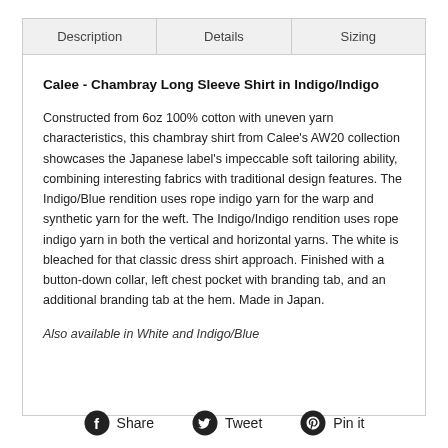| Description | Details | Sizing |
| --- | --- | --- |
Calee - Chambray Long Sleeve Shirt in Indigo/Indigo
Constructed from 6oz 100% cotton with uneven yarn characteristics, this chambray shirt from Calee's AW20 collection showcases the Japanese label's impeccable soft tailoring ability, combining interesting fabrics with traditional design features. The Indigo/Blue rendition uses rope indigo yarn for the warp and synthetic yarn for the weft. The Indigo/Indigo rendition uses rope indigo yarn in both the vertical and horizontal yarns. The white is bleached for that classic dress shirt approach. Finished with a button-down collar, left chest pocket with branding tab, and an additional branding tab at the hem. Made in Japan.
Also available in White and Indigo/Blue
Share   Tweet   Pin it